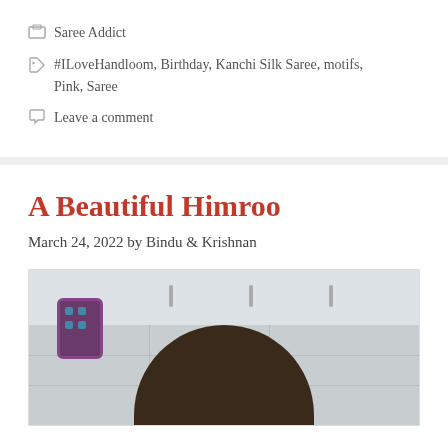Saree Addict
#ILoveHandloom, Birthday, Kanchi Silk Saree, motifs, Pink, Saree
Leave a comment
A Beautiful Himroo
March 24, 2022 by Bindu & Krishnan
[Figure (photo): A person photographed from above showing top of head with dark hair, standing in a kitchen with white tile walls and white cabinets with bar handles. A purple device is visible at the lower left.]